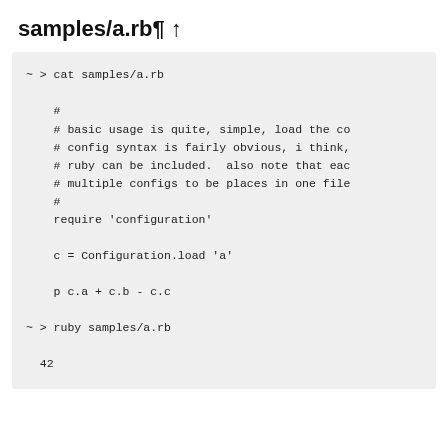samples/a.rb¶ ↑
~ > cat samples/a.rb

    #
    # basic usage is quite, simple, load the co
    # config syntax is fairly obvious, i think,
    # ruby can be included.  also note that eac
    # multiple configs to be places in one file
    #
    require 'configuration'

    c = Configuration.load 'a'

    p c.a + c.b - c.c

~ > ruby samples/a.rb

  42